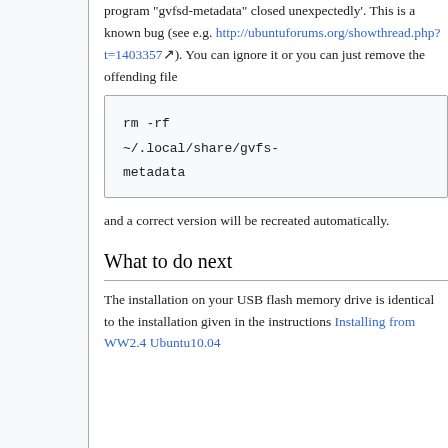program "gvfsd-metadata" closed unexpectedly'. This is a known bug (see e.g. http://ubuntuforums.org/showthread.php?t=1403357). You can ignore it or you can just remove the offending file
and a correct version will be recreated automatically.
What to do next
The installation on your USB flash memory drive is identical to the installation given in the instructions Installing from WW2.4 Ubuntu10.04